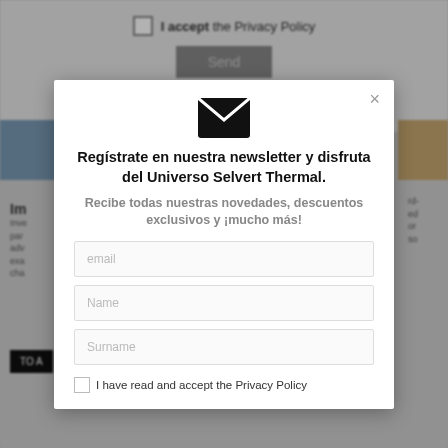I accept the Privacy Policy
Send
[Figure (screenshot): Newsletter signup modal dialog with email icon, Spanish headline, subtitle, three input fields (email, Name, Surname), and a privacy policy checkbox. Background shows a dimmed website page.]
Regístrate en nuestra newsletter y disfruta del Universo Selvert Thermal.
Recibe todas nuestras novedades, descuentos exclusivos y ¡mucho más!
email
Name
Surname
I have read and accept the Privacy Policy